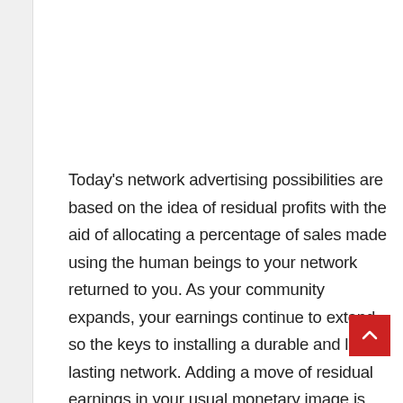Today's network advertising possibilities are based on the idea of residual profits with the aid of allocating a percentage of sales made using the human beings to your network returned to you. As your community expands, your earnings continue to extend, so the keys to installing a durable and long-lasting network. Adding a move of residual earnings in your usual monetary image is not the simplest logical step. Still, in present-day unstable economic weather, it is a crucial component for s[...]ess. Find an opportunity demonstrated, tested, and run by a control crew with the revel in and abilities important to